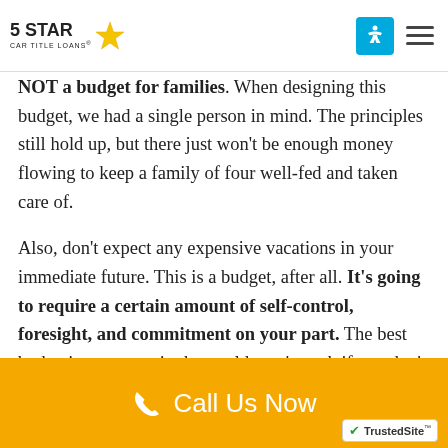5 STAR CAR TITLE LOANS
NOT a budget for families. When designing this budget, we had a single person in mind. The principles still hold up, but there just won't be enough money flowing to keep a family of four well-fed and taken care of.
Also, don't expect any expensive vacations in your immediate future. This is a budget, after all. It's going to require a certain amount of self-control, foresight, and commitment on your part. The best budgeting strategy in the world won't work if you don't stick to it.
Call Us Now